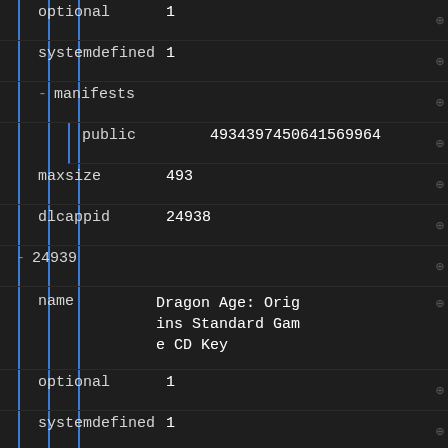optional    1
systemdefined    1
- manifests
public    4934397450641569964
maxsize    493
dlcappid    24938
- 24939
name    Dragon Age: Origins Standard Game CD Key
optional    1
systemdefined    1
- manifests
public    3461668241962638556
maxsize    493